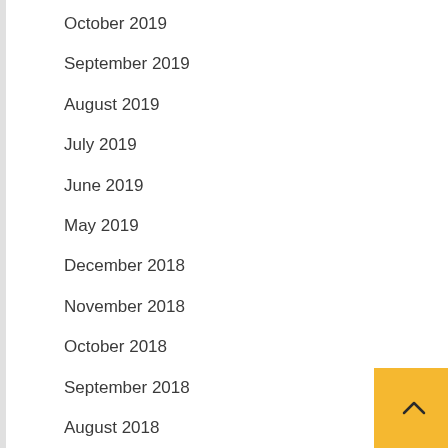October 2019
September 2019
August 2019
July 2019
June 2019
May 2019
December 2018
November 2018
October 2018
September 2018
August 2018
July 2018
June 2018
May 2018